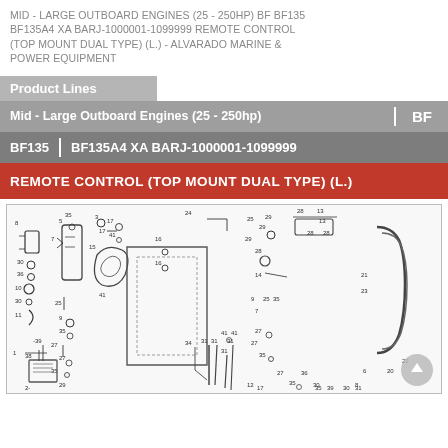MID - LARGE OUTBOARD ENGINES (25 - 250HP) BF BF135 BF135A4 XA BARJ-1000001-1099999 REMOTE CONTROL (TOP MOUNT DUAL TYPE) (L.) - ALVARADO MARINE & POWER EQUIPMENT
Product Lines
Mid - Large Outboard Engines (25 - 250hp) | BF
BF135 | BF135A4 XA BARJ-1000001-1099999
REMOTE CONTROL (TOP MOUNT DUAL TYPE) (L.)
[Figure (engineering-diagram): Exploded parts diagram of Remote Control (Top Mount Dual Type) (L.) for Honda BF135 outboard engine, showing numbered components and their assembly relationships.]